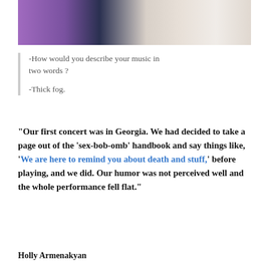[Figure (photo): Photo of two people, one wearing a purple satin jacket and one in white, partially cropped at top of page]
-How would you describe your music in two words ?

-Thick fog.
“Our first concert was in Georgia. We had decided to take a page out of the ‘sex-bob-omb’ handbook and say things like, ‘We are here to remind you about death and stuff,’ before playing, and we did. Our humor was not perceived well and the whole performance fell flat.”
Holly Armenakyan